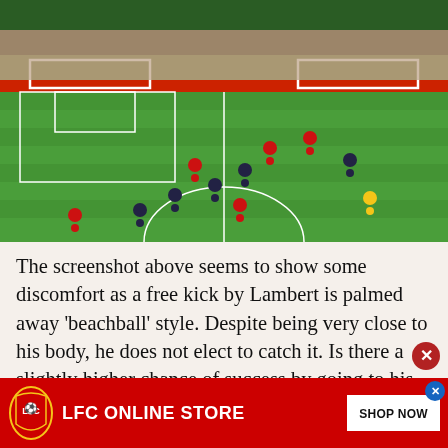[Figure (screenshot): Football match screenshot showing players on a green pitch near the penalty area, with advertising hoardings in the background and spectators in the stands. Red-shirted team versus dark-shirted team. A referee in yellow is visible bottom right.]
The screenshot above seems to show some discomfort as a free kick by Lambert is palmed away 'beachball' style. Despite being very close to his body, he does not elect to catch it. Is there a slightly higher chance of success by going to his right than his left? Is there a fraction...
[Figure (other): LFC Online Store advertisement banner with Liverpool FC crest logo, red background, white text reading LFC ONLINE STORE, and a SHOP NOW button.]